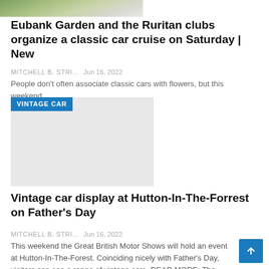[Figure (photo): Partial top image showing plants/food on a surface, cropped at top of page]
Eubank Garden and the Ruritan clubs organize a classic car cruise on Saturday | New
MITCHELL B. STRI...    Jun 16, 2022
People don't often associate classic cars with flowers, but this weekend...
[Figure (photo): Light gray placeholder image with VINTAGE CAR blue tag badge overlay in top-left corner]
Vintage car display at Hutton-In-The-Forrest on Father's Day
MITCHELL B. STRI...    Jun 16, 2022
This weekend the Great British Motor Shows will hold an event at Hutton-In-The-Forest. Coinciding nicely with Father's Day, visitors can see a range of vintage cars. READ MORE: The latest Kia Sportage is a